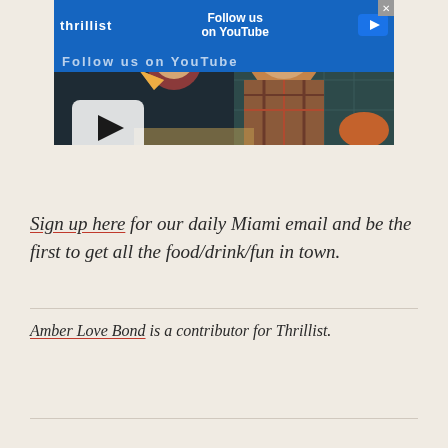[Figure (screenshot): YouTube video thumbnail showing two men eating pizza slices in a restaurant, with a Thrillist YouTube follow-us advertisement banner overlay at the top and a YouTube play button in the lower left corner.]
Sign up here for our daily Miami email and be the first to get all the food/drink/fun in town.
Amber Love Bond is a contributor for Thrillist.